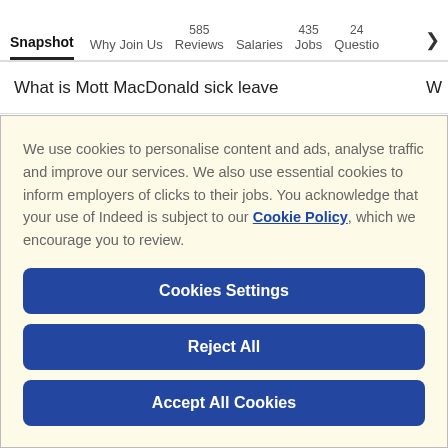Snapshot  Why Join Us  585 Reviews  Salaries  435 Jobs  24 Questions >
What is Mott MacDonald sick leave  W
We use cookies to personalise content and ads, analyse traffic and improve our services. We also use essential cookies to inform employers of clicks to their jobs. You acknowledge that your use of Indeed is subject to our Cookie Policy, which we encourage you to review.
Cookies Settings
Reject All
Accept All Cookies